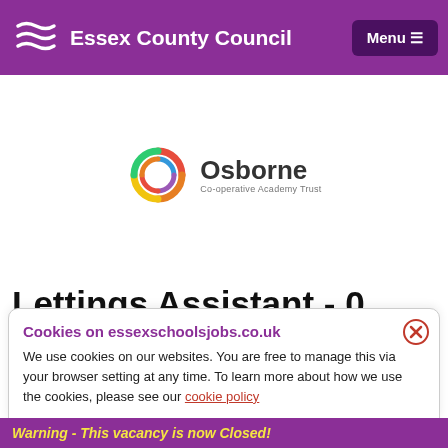Essex County Council
[Figure (logo): Osborne Co-operative Academy Trust logo with circular swirl icon]
Lettings Assistant - 0 Hours
Cookies on essexschoolsjobs.co.uk
We use cookies on our websites. You are free to manage this via your browser setting at any time. To learn more about how we use the cookies, please see our cookie policy
Warning - This vacancy is now Closed!